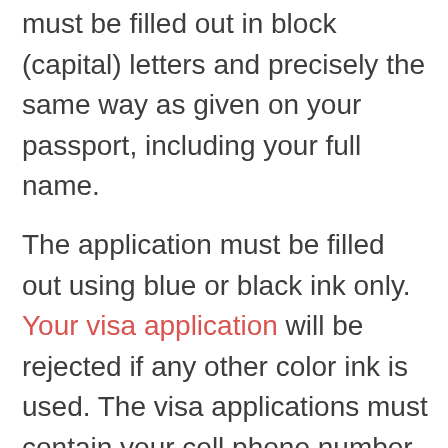must be filled out in block (capital) letters and precisely the same way as given on your passport, including your full name.
The application must be filled out using blue or black ink only. Your visa application will be rejected if any other color ink is used. The visa applications must contain your cell phone number and email address.
Keep the following tips in mind:
For the application section on religion, enter Muslim or other. 'Other' in this case means non-Muslim.